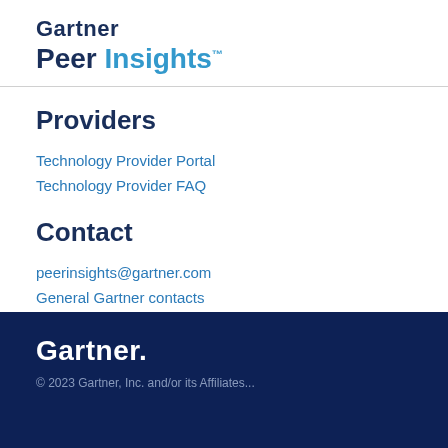Gartner Peer Insights™
Providers
Technology Provider Portal
Technology Provider FAQ
Contact
peerinsights@gartner.com
General Gartner contacts
Become a Gartner client
Gartner®